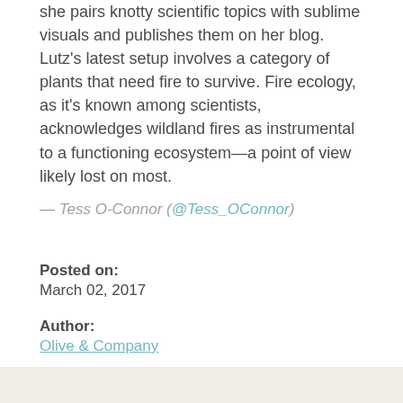she pairs knotty scientific topics with sublime visuals and publishes them on her blog. Lutz’s latest setup involves a category of plants that need fire to survive. Fire ecology, as it’s known among scientists, acknowledges wildland fires as instrumental to a functioning ecosystem—a point of view likely lost on most.
— Tess O-Connor (@Tess_OConnor)
Posted on:
March 02, 2017
Author:
Olive & Company
Categories:
Tools and Resources